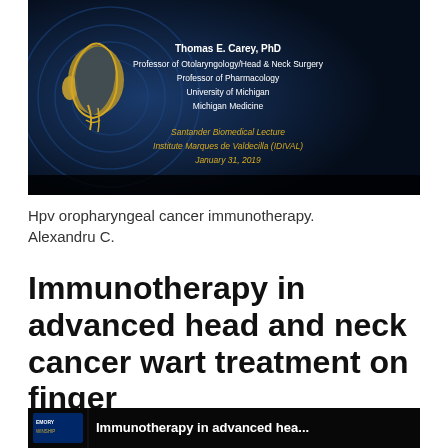[Figure (screenshot): Presentation slide cover with dark blue/black background, golden head/neck anatomy logo on left, and white text listing Thomas E. Carey PhD, Professor of Otolaryngology/Head & Neck Surgery, Professor of Pharmacology, University of Michigan, Michigan Medicine. Below in golden/yellow italic text: Santander Biomedical Lecture, Institute Marques de Valdecilla (IDIVAL), January 31, 2019.]
Hpv oropharyngeal cancer immunotherapy. Alexandru C.
Immunotherapy in advanced head and neck cancer wart treatment on finger
[Figure (screenshot): Partial view of another presentation slide with dark background, Emory Winship logo on lower left, and partial text 'Immunotherapy in advanced hea...' visible.]